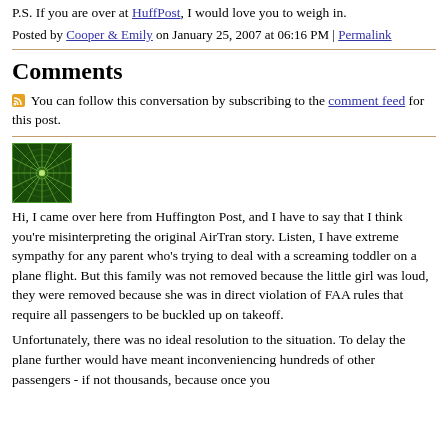P.S. If you are over at HuffPost, I would love you to weigh in.
Posted by Cooper & Emily on January 25, 2007 at 06:16 PM | Permalink
Comments
You can follow this conversation by subscribing to the comment feed for this post.
[Figure (illustration): Green pixel/mosaic pattern avatar image]
Hi, I came over here from Huffington Post, and I have to say that I think you're misinterpreting the original AirTran story. Listen, I have extreme sympathy for any parent who's trying to deal with a screaming toddler on a plane flight. But this family was not removed because the little girl was loud, they were removed because she was in direct violation of FAA rules that require all passengers to be buckled up on takeoff.
Unfortunately, there was no ideal resolution to the situation. To delay the plane further would have meant inconveniencing hundreds of other passengers - if not thousands, because once you delay one plane, you've initially delayed a long line of connecting...